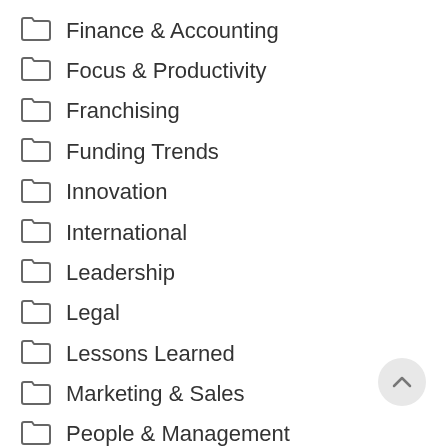Finance & Accounting
Focus & Productivity
Franchising
Funding Trends
Innovation
International
Leadership
Legal
Lessons Learned
Marketing & Sales
People & Management
Raising Capital